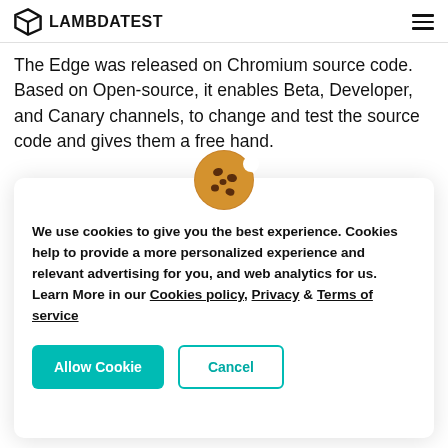LAMBDATEST
The Edge was released on Chromium source code. Based on Open-source, it enables Beta, Developer, and Canary channels, to change and test the source code and gives them a free hand.
[Figure (illustration): Cookie emoji illustration — a round brown cookie with chocolate chip bites]
We use cookies to give you the best experience. Cookies help to provide a more personalized experience and relevant advertising for you, and web analytics for us. Learn More in our Cookies policy, Privacy & Terms of service
Allow Cookie | Cancel